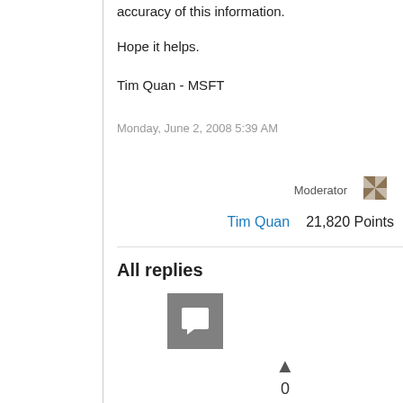Microsoft does not guarantee the accuracy of this information.
Hope it helps.
Tim Quan - MSFT
Monday, June 2, 2008 5:39 AM
Moderator
Tim Quan  21,820 Points
All replies
[Figure (other): User avatar placeholder icon (gray square with white chat bubble icon)]
0
Sign in